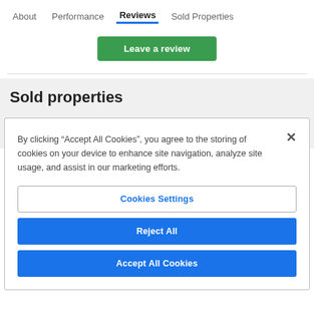About   Performance   Reviews   Sold Properties
Leave a review
Sold properties
By clicking “Accept All Cookies”, you agree to the storing of cookies on your device to enhance site navigation, analyze site usage, and assist in our marketing efforts.
Cookies Settings
Reject All
Accept All Cookies